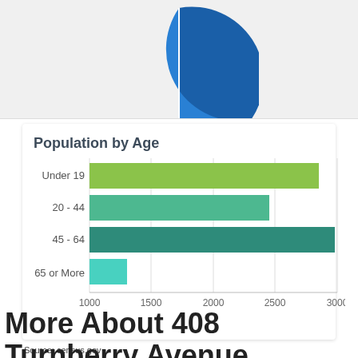[Figure (pie-chart): Partial pie chart visible at top of page, blue tones, cropped]
Population by Age
[Figure (bar-chart): Population by Age]
Source: census.gov
More About 408 Turnberry Avenue,